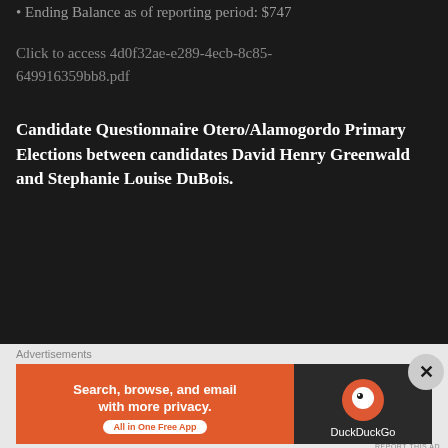Ending Balance as of reporting period: $747
Click to access 4d0f32ae-e289-4ecb-8c85-649916359bb8.pdf
Candidate Questionnaire Otero/Alamogordo Primary Elections between candidates David Henry Greenwald and Stephanie Louise DuBois.
[Figure (screenshot): Advertisement: Professionally designed sites in less than a week – WordPress logo]
Note in an email dated 4/4/2022 Ms. DuBois emailed that she would "rather not participate" in the questionnaire. What follows is the responses
[Figure (screenshot): Advertisement: DuckDuckGo – Search, browse, and email with more privacy. All in One Free App.]